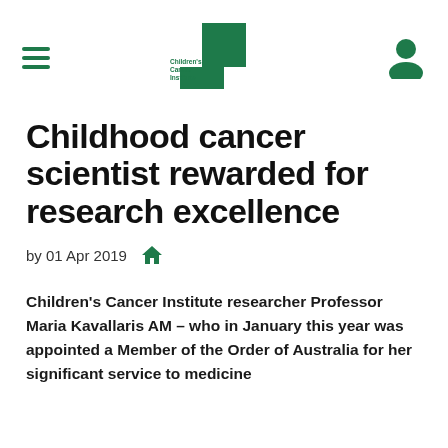Children's Cancer Institute
Childhood cancer scientist rewarded for research excellence
by 01 Apr 2019
Children's Cancer Institute researcher Professor Maria Kavallaris AM – who in January this year was appointed a Member of the Order of Australia for her significant service to medicine